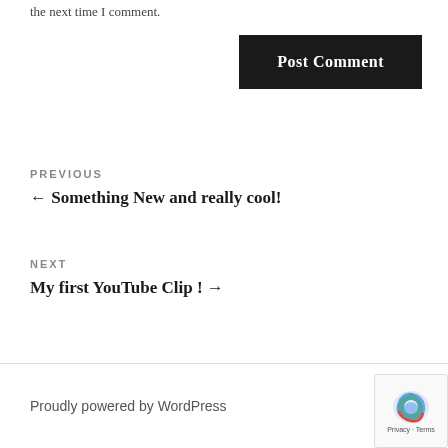the next time I comment.
Post Comment
PREVIOUS
← Something New and really cool!
NEXT
My first YouTube Clip ! →
Proudly powered by WordPress